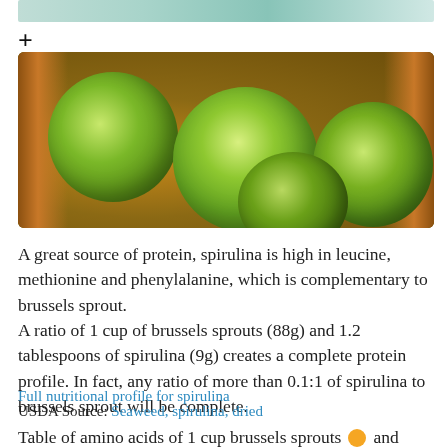[Figure (photo): Top sliver of a previous image showing spirulina powder and green ingredients]
+
[Figure (photo): Brussels sprouts in a wooden bowl, close-up photo]
A great source of protein, spirulina is high in leucine, methionine and phenylalanine, which is complementary to brussels sprout.
A ratio of 1 cup of brussels sprouts (88g) and 1.2 tablespoons of spirulina (9g) creates a complete protein profile. In fact, any ratio of more than 0.1:1 of spirulina to brussels sprout will be complete.
Full nutritional profile for spirulina
USDA Source: Seaweed, spirulina, dried
Table of amino acids of 1 cup brussels sprouts ● and